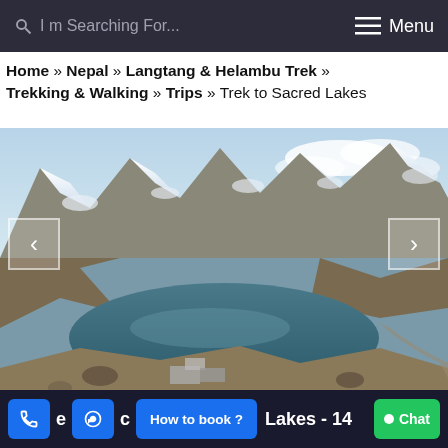I m Searching For...   ≡ Menu
Home » Nepal » Langtang & Helambu Trek » Trekking & Walking » Trips » Trek to Sacred Lakes
[Figure (photo): Mountain lake surrounded by snow-capped rocky mountains under a partly cloudy sky, with small stone structures in the foreground. Navigation arrows on left and right sides of the image.]
Lakes - 14